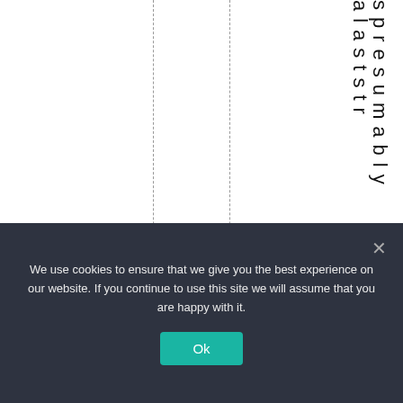[Figure (other): White document area with two vertical dashed lines and vertical text reading 'spresumably alasts tr' running down the right side]
We use cookies to ensure that we give you the best experience on our website. If you continue to use this site we will assume that you are happy with it. Ok